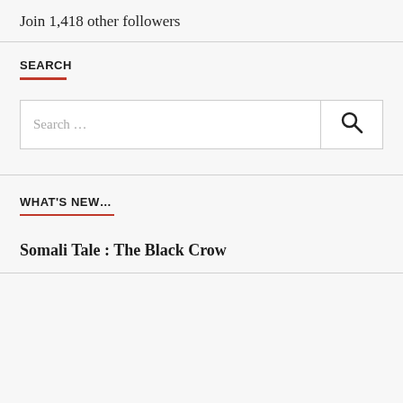Join 1,418 other followers
SEARCH
Search …
WHAT'S NEW…
Somali Tale : The Black Crow